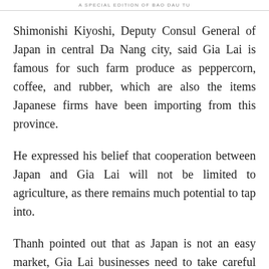A SPECIAL EDITION OF BAO DAU TU
Shimonishi Kiyoshi, Deputy Consul General of Japan in central Da Nang city, said Gia Lai is famous for such farm produce as peppercorn, coffee, and rubber, which are also the items Japanese firms have been importing from this province.
He expressed his belief that cooperation between Japan and Gia Lai will not be limited to agriculture, as there remains much potential to tap into.
Thanh pointed out that as Japan is not an easy market, Gia Lai businesses need to take careful and firm steps, the prerequisite of which is to apply scientific and technological advances to manufacturing and continually improve product